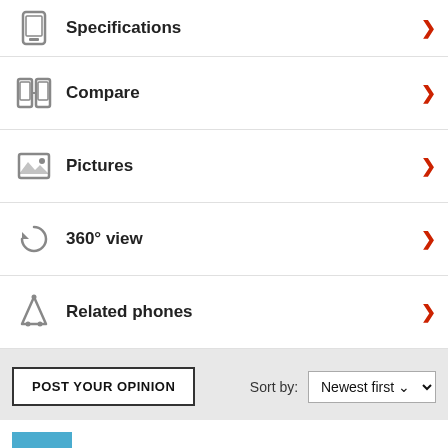Specifications
Compare
Pictures
360° view
Related phones
POST YOUR OPINION
Sort by: Newest first
M  Mahan  kb4  17 May 2008
sorry,where is the videocall camera exactly?(second camera).I can't see that.